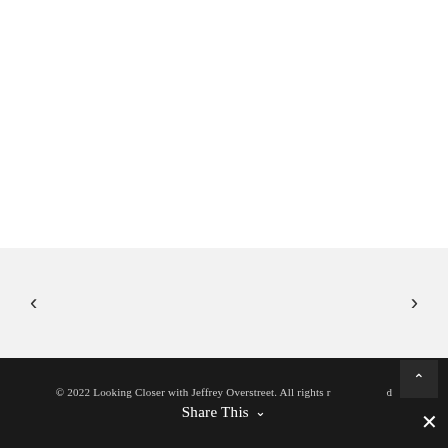[Figure (other): White blank area — top section of a webpage with no visible content]
[Figure (other): Light gray navigation carousel section with left and right arrow buttons]
© 2022 Looking Closer with Jeffrey Overstreet. All rights reserved
Share This ∨
✕